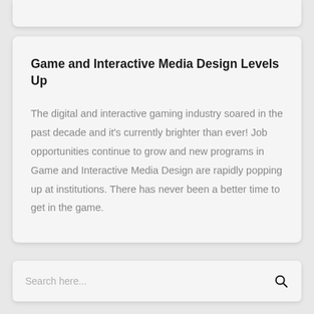Game and Interactive Media Design Levels Up
The digital and interactive gaming industry soared in the past decade and it's currently brighter than ever! Job opportunities continue to grow and new programs in Game and Interactive Media Design are rapidly popping up at institutions. There has never been a better time to get in the game.
Search here...